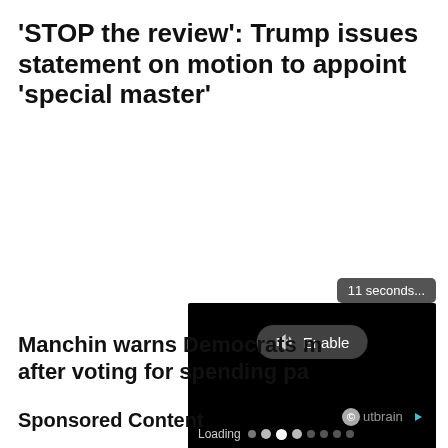'STOP the review': Trump issues statement on motion to appoint 'special master'
[Figure (screenshot): Video player overlay showing '11 seconds...' tooltip and a black video player with 'Enable' audio button and 'Loading' progress dots]
Manchin warns Democrats m after voting for spending pa
Sponsored Content
[Figure (logo): Outbrain logo with play button icon]